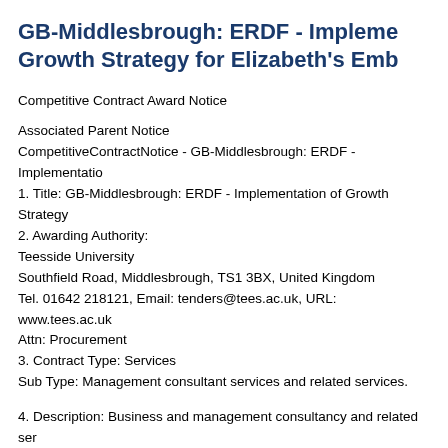GB-Middlesbrough: ERDF - Implementation of Growth Strategy for Elizabeth's Embroidery
Competitive Contract Award Notice
Associated Parent Notice
CompetitiveContractNotice - GB-Middlesbrough: ERDF - Implementation of Growth Strategy...
1. Title: GB-Middlesbrough: ERDF - Implementation of Growth Strategy...
2. Awarding Authority:
Teesside University
Southfield Road, Middlesbrough, TS1 3BX, United Kingdom
Tel. 01642 218121, Email: tenders@tees.ac.uk, URL: www.tees.ac.uk
Attn: Procurement
3. Contract Type: Services
Sub Type: Management consultant services and related services.
4. Description: Business and management consultancy and related services / management consultancy services. Elizabeth's Embroidery has historically focused on... diversify their business and develop a growth plan to create and implement...